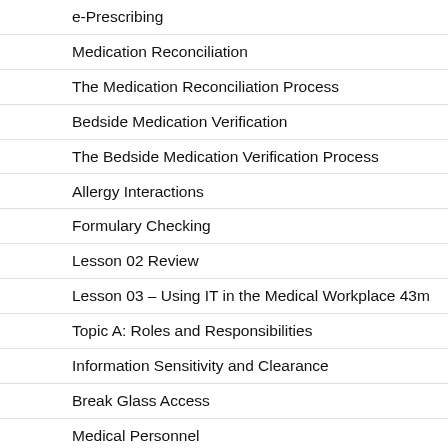e-Prescribing
Medication Reconciliation
The Medication Reconciliation Process
Bedside Medication Verification
The Bedside Medication Verification Process
Allergy Interactions
Formulary Checking
Lesson 02 Review
Lesson 03 – Using IT in the Medical Workplace 43m
Topic A: Roles and Responsibilities
Information Sensitivity and Clearance
Break Glass Access
Medical Personnel
Medical Office Staff and Business Personnel
IT and Other Technical Roles
Business Associates, Contractors, and Third Parties
Working Within a Medical Team
Topic B: Manage Communication and Ethics Issues
Communication Skills